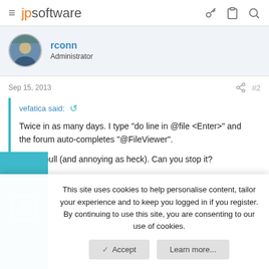jpsoftware
rconn
Administrator
Sep 15, 2013  #2
vefatica said:
Twice in as many days. I type "do line in @file <Enter>" and the forum auto-completes "@FileViewer".

That's bull (and annoying as heck). Can you stop it?
This site uses cookies to help personalise content, tailor your experience and to keep you logged in if you register.
By continuing to use this site, you are consenting to our use of cookies.